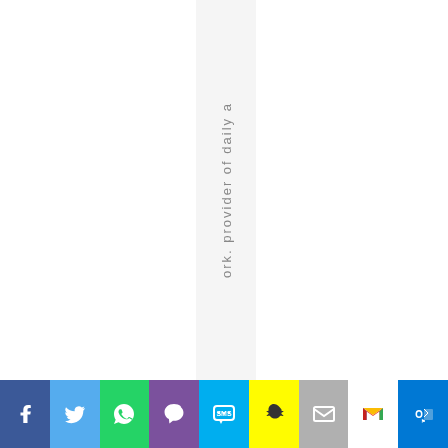ork.provider of daily a
[Figure (infographic): Social media share bar with icons for Facebook, Twitter, WhatsApp, Viber, SMS, Snapchat, Mail, Gmail, and Outlook]